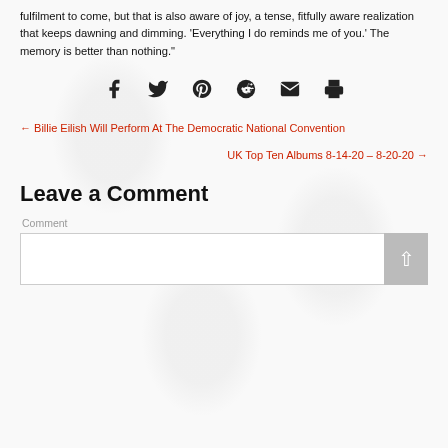fulfilment to come, but that is also aware of joy, a tense, fitfully aware realization that keeps dawning and dimming. 'Everything I do reminds me of you.' The memory is better than nothing."
[Figure (infographic): Social share icons: Facebook, Twitter, Pinterest, Reddit, Email, Print]
← Billie Eilish Will Perform At The Democratic National Convention
UK Top Ten Albums 8-14-20 – 8-20-20 →
Leave a Comment
Comment
[Figure (other): Comment text input box with scroll-to-top button]